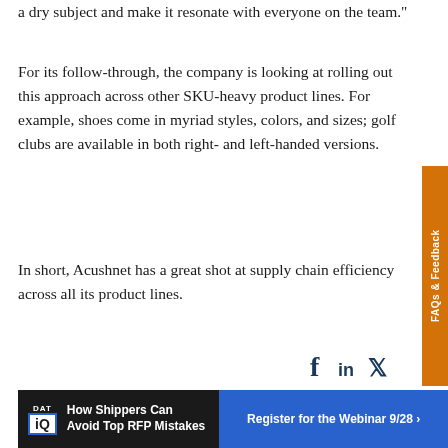a dry subject and make it resonate with everyone on the team."
For its follow-through, the company is looking at rolling out this approach across other SKU-heavy product lines. For example, shoes come in myriad styles, colors, and sizes; golf clubs are available in both right- and left-handed versions.
In short, Acushnet has a great shot at supply chain efficiency across all its product lines.
[Figure (other): Social media share icons: Facebook (f), LinkedIn (in), Twitter bird icon]
[Figure (other): FAQs & Feedback vertical orange tab on right side]
[Figure (other): DAT iQ advertisement banner: How Shippers Can Avoid Top RFP Mistakes — Register for the Webinar 9/28]